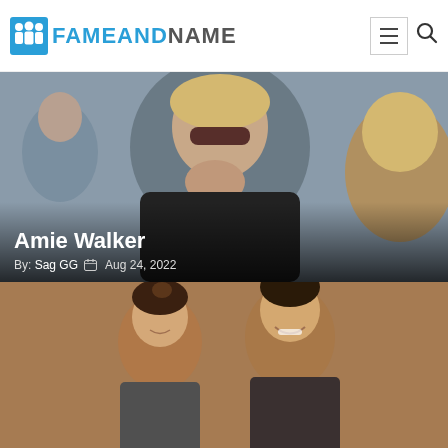FAMEANDNAME
[Figure (photo): Woman wearing dark sunglasses and black top, covering her mouth with both hands in an emotional gesture, standing in a crowd outdoors.]
Amie Walker
By: Sag GG  Aug 24, 2022
[Figure (photo): A couple posing together indoors, young man and woman smiling, wooden background visible behind them.]